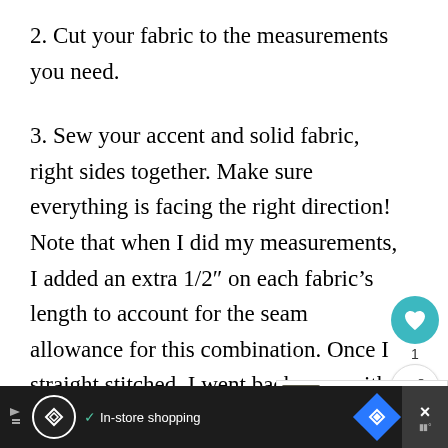2. Cut your fabric to the measurements you need.
3. Sew your accent and solid fabric, right sides together. Make sure everything is facing the right direction! Note that when I did my measurements, I added an extra 1/2″ on each fabric’s length to account for the seam allowance for this combination. Once I straight stitched, I went back over with a zig zag to hopefully keep the edges fro
WHAT’S NEXT → How to Sew a Crib Teethin...
[Figure (screenshot): Bottom advertisement bar with Google Ads icon, In-store shopping text, navigation arrow icon, and close button]